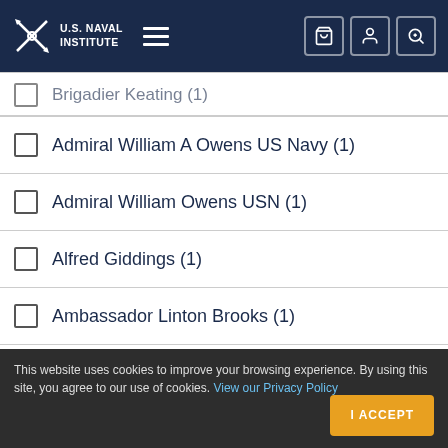U.S. Naval Institute
Admiral William A Owens US Navy (1)
Admiral William Owens USN (1)
Alfred Giddings (1)
Ambassador Linton Brooks (1)
Ambassador Paul H Nitze (1)
This website uses cookies to improve your browsing experience. By using this site, you agree to our use of cookies. View our Privacy Policy